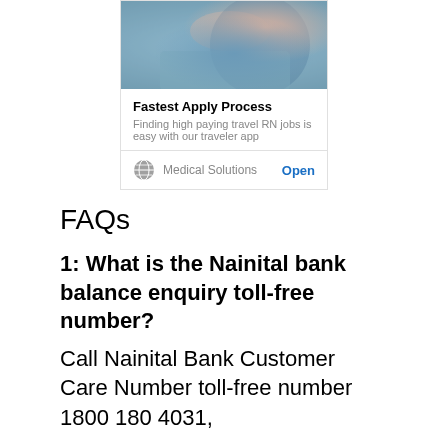[Figure (photo): Advertisement banner showing a medical professional in blue scrubs with gloves, from Medical Solutions. Title: Fastest Apply Process. Subtitle: Finding high paying travel RN jobs is easy with our traveler app.]
FAQs
1: What is the Nainital bank balance enquiry toll-free number?
Call Nainital Bank Customer Care Number toll-free number 1800 180 4031,